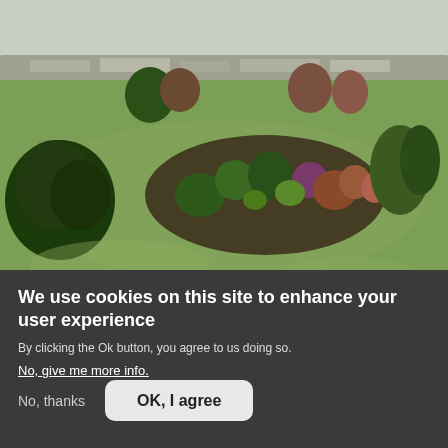[Figure (photo): Outdoor garden photo showing green lawn, ornamental shrubs and flower beds, stone wall in background, overcast sky]
B&BS	182.25 miles from
Horseshoe Cottage Farm
REGION
We use cookies on this site to enhance your user experience
By clicking the Ok button, you agree to us doing so.
No, give me more info.
No, thanks
OK, I agree